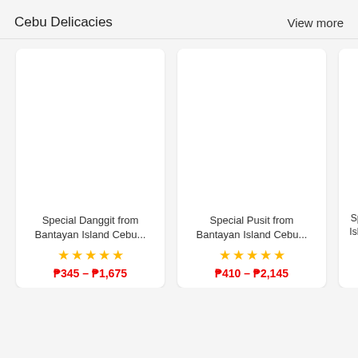Cebu Delicacies
View more
[Figure (screenshot): Product card: Special Danggit from Bantayan Island Cebu... with 5 stars and price range ₱345 – ₱1,675]
[Figure (screenshot): Product card: Special Pusit from Bantayan Island Cebu... with 5 stars and price range ₱410 – ₱2,145]
[Figure (screenshot): Partial product card: Special ... Island of... with partial stars and price starting ₱31...]